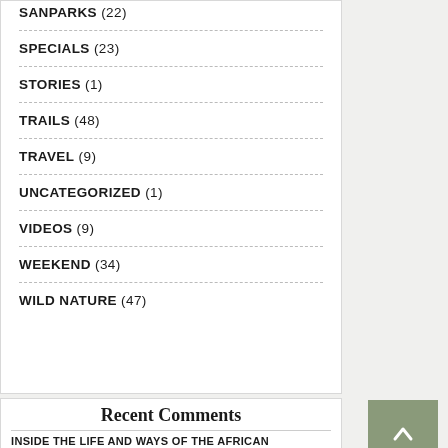SANPARKS (22)
SPECIALS (23)
STORIES (1)
TRAILS (48)
TRAVEL (9)
UNCATEGORIZED (1)
VIDEOS (9)
WEEKEND (34)
WILD NATURE (47)
Recent Comments
INSIDE THE LIFE AND WAYS OF THE AFRICAN